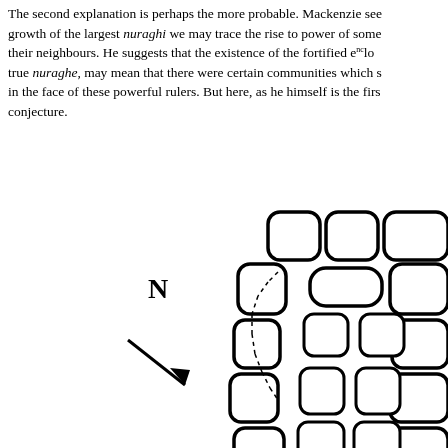The second explanation is perhaps the more probable. Mackenzie sees in the growth of the largest nuraghi we may trace the rise to power of some chiefs over their neighbours. He suggests that the existence of the fortified enclo[sures] without true nuraghe, may mean that there were certain communities which s[tood firm] in the face of these powerful rulers. But here, as he himself is the firs[t to admit,] conjecture.
[Figure (engineering-diagram): Architectural floor plan diagram of a nuraghe (ancient Sardinian stone tower), showing a partial plan view with large rounded stones forming the outer wall in a curved arrangement (visible top-right), an inner chamber or entrance passage with smaller stones, and a north arrow (bold N with diagonal arrow) indicating orientation, located to the lower left of the diagram.]